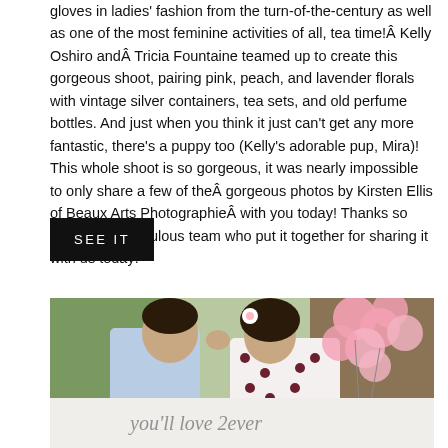gloves in ladies' fashion from the turn-of-the-century as well as one of the most feminine activities of all, tea time!Â Kelly Oshiro andÂ Tricia Fountaine teamed up to create this gorgeous shoot, pairing pink, peach, and lavender florals with vintage silver containers, tea sets, and old perfume bottles. And just when you think it just can't get any more fantastic, there's a puppy too (Kelly's adorable pup, Mira)! This whole shoot is so gorgeous, it was nearly impossible to only share a few of theÂ gorgeous photos by Kirsten Ellis of Beaux Arts PhotographieÂ with you today! Thanks so much to the fabulous team who put it together for sharing it with us today!
SEE IT
[Figure (photo): A couple kissing outdoors near pink balloons; the woman wears a floral hair accessory and polka dot dress; man in light blue shirt; pink balloons in background against house]
[Figure (photo): Bottom portion of an image showing a white surface with handwritten cursive text, partially visible]